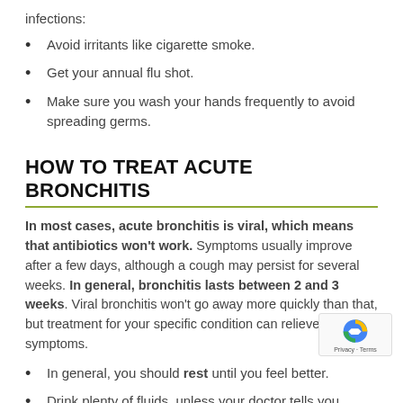infections:
Avoid irritants like cigarette smoke.
Get your annual flu shot.
Make sure you wash your hands frequently to avoid spreading germs.
HOW TO TREAT ACUTE BRONCHITIS
In most cases, acute bronchitis is viral, which means that antibiotics won’t work. Symptoms usually improve after a few days, although a cough may persist for several weeks. In general, bronchitis lasts between 2 and 3 weeks. Viral bronchitis won’t go away more quickly than that, but treatment for your specific condition can relieve your symptoms.
In general, you should rest until you feel better.
Drink plenty of fluids, unless your doctor tells you